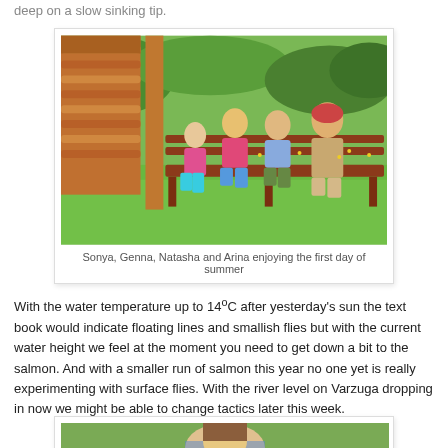deep on a slow sinking tip.
[Figure (photo): Four females (Sonya, Genna, Natasha and Arina) sitting on a bench outside a log cabin, with green grass and trees in the background, enjoying the first day of summer.]
Sonya, Genna, Natasha and Arina enjoying the first day of summer
With the water temperature up to 14°C after yesterday's sun the text book would indicate floating lines and smallish flies but with the current water height we feel at the moment you need to get down a bit to the salmon. And with a smaller run of salmon this year no one yet is really experimenting with surface flies. With the river level on Varzuga dropping in now we might be able to change tactics later this week.
[Figure (photo): Partial photo visible at the bottom of the page, showing a person near water with green trees in the background.]